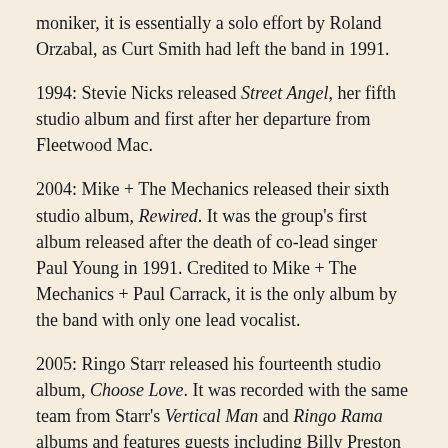moniker, it is essentially a solo effort by Roland Orzabal, as Curt Smith had left the band in 1991.
1994: Stevie Nicks released Street Angel, her fifth studio album and first after her departure from Fleetwood Mac.
2004: Mike + The Mechanics released their sixth studio album, Rewired. It was the group's first album released after the death of co-lead singer Paul Young in 1991. Credited to Mike + The Mechanics + Paul Carrack, it is the only album by the band with only one lead vocalist.
2005: Ringo Starr released his fourteenth studio album, Choose Love. It was recorded with the same team from Starr's Vertical Man and Ringo Rama albums and features guests including Billy Preston and Chrissie Hynde.
2011: The debut album by 11-piece blues rock group the Tedeschi Trucks Band, Revelator, was released.
Birthdays To...